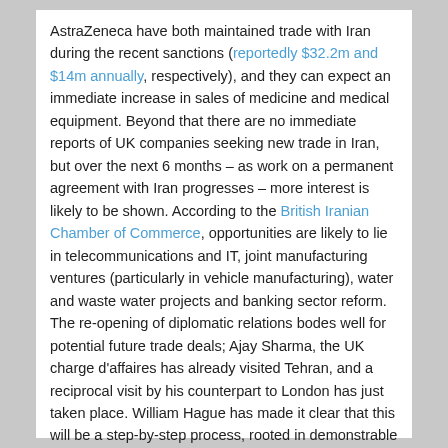AstraZeneca have both maintained trade with Iran during the recent sanctions (reportedly $32.2m and $14m annually, respectively), and they can expect an immediate increase in sales of medicine and medical equipment. Beyond that there are no immediate reports of UK companies seeking new trade in Iran, but over the next 6 months – as work on a permanent agreement with Iran progresses – more interest is likely to be shown. According to the British Iranian Chamber of Commerce, opportunities are likely to lie in telecommunications and IT, joint manufacturing ventures (particularly in vehicle manufacturing), water and waste water projects and banking sector reform. The re-opening of diplomatic relations bodes well for potential future trade deals; Ajay Sharma, the UK charge d'affaires has already visited Tehran, and a reciprocal visit by his counterpart to London has just taken place. William Hague has made it clear that this will be a step-by-step process, rooted in demonstrable trust being developed, but the early signs are promising.